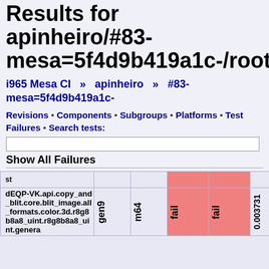Results for apinheiro/#83-mesa=5f4d9b419a1c-/root:
i965 Mesa CI » apinheiro » #83-mesa=5f4d9b419a1c-
Revisions • Components • Subgroups • Platforms • Test Failures • Search tests:
Show All Failures
| st |  | m64 | fail | fail | 0.003731 | View |
| --- | --- | --- | --- | --- | --- | --- |
| dEQP-VK.api.copy_and_blit.core.blit_image.all_formats.color.3d.r8g8b8a8_uint.r8g8b8a8_uint.genera | gen9 | m64 | fail | fail | 0.003731 | View |